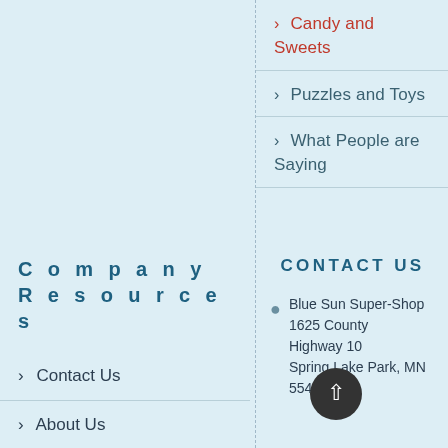> Candy and Sweets
> Puzzles and Toys
> What People are Saying
Company Resources
> Contact Us
> About Us
> Latest News
CONTACT US
Blue Sun Super-Shop 1625 County Highway 10 Spring Lake Park, MN 55432